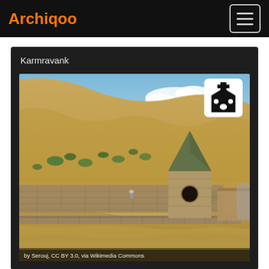Archiqoo
Karmravank
[Figure (photo): Photograph of Karmravank monastery ruins on a rocky hillside. A conical-roofed stone tower/chapel is visible at center-right. The surrounding landscape shows dry golden hills with sparse green shrubs. Stone walls extend across the foreground. A small figure is visible near the left-center. A church icon badge appears in the upper right of the image.]
by Serouj, CC BY 3.0, via Wikimedia Commons